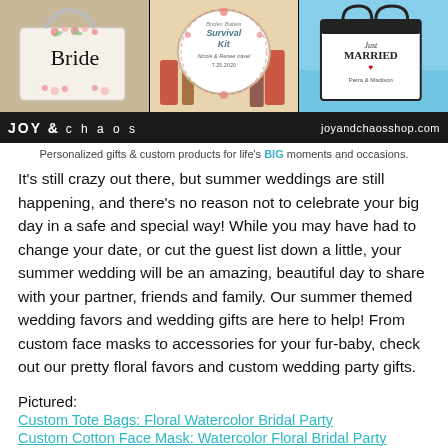[Figure (photo): Three product images side by side: (1) A white cosmetic bag with 'Bride' script lettering and floral accents on a tan/natural background, (2) A round tin or badge labeled 'Brides Babes Survival Kit' with floral design and date, surrounded by makeup/cosmetic items on a light background, (3) A black and white tote bag labeled 'Just Married' with floral detail on a beach/blue background]
JOY & chaos    joyandchaosshop.com
Personalized gifts & custom products for life's BIG moments and occasions.
It's still crazy out there, but summer weddings are still happening, and there's no reason not to celebrate your big day in a safe and special way! While you may have had to change your date, or cut the guest list down a little, your summer wedding will be an amazing, beautiful day to share with your partner, friends and family. Our summer themed wedding favors and wedding gifts are here to help! From custom face masks to accessories for your fur-baby, check out our pretty floral favors and custom wedding party gifts.
Pictured:
Custom Tote Bags: Floral Watercolor Bridal Party
Custom Cotton Face Mask: Watercolor Floral Bridal Party